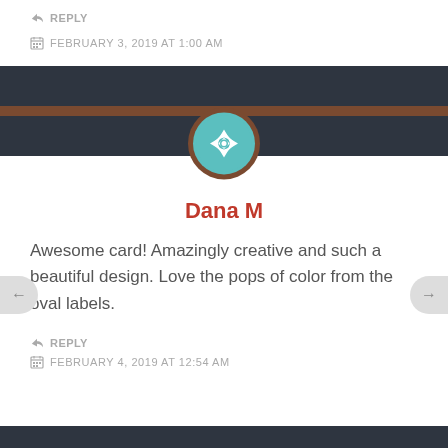↳ REPLY
FEBRUARY 3, 2019 AT 1:00 AM
[Figure (illustration): Dark header band with brown horizontal stripe and circular avatar logo (teal quilt-pattern geometric design on brown circular border)]
Dana M
Awesome card! Amazingly creative and such a beautiful design. Love the pops of color from the oval labels.
↳ REPLY
FEBRUARY 4, 2019 AT 12:54 AM